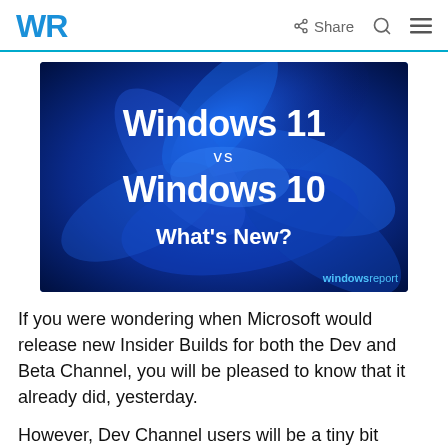WR  Share
[Figure (illustration): Hero image with dark blue swirling Windows 11 flower/bloom graphic. Text overlay reads: Windows 11 vs Windows 10 What's New? Watermark: windowsreport]
If you were wondering when Microsoft would release new Insider Builds for both the Dev and Beta Channel, you will be pleased to know that it already did, yesterday.
However, Dev Channel users will be a tiny bit